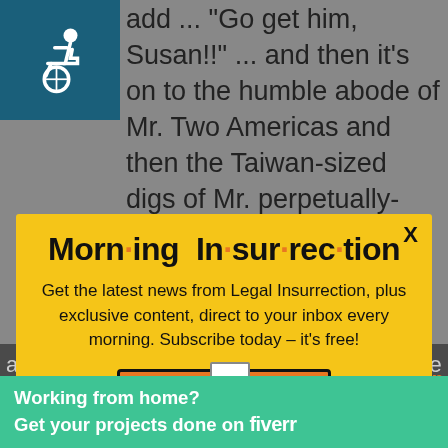add ... "Go get him, Susan!!" ... and then it's on to the humble abode of Mr. Two Americas and then the Taiwan-sized digs of Mr. perpetually-concerned-that-
[Figure (illustration): Wheelchair accessibility icon — white stick figure in wheelchair on teal/dark blue background square]
[Figure (infographic): Morning Insurrection newsletter popup modal with yellow background. Title: 'Morn·ing In·sur·rec·tion' with orange dots as bullets. Subtitle: 'Get the latest news from Legal Insurrection, plus exclusive content, direct to your inbox every morning. Subscribe today – it's free!' Button: 'JOIN NOW' with envelope icon, orange background, dark border. X close button top right.]
an assistant professor, who just got tenure if she has it at all, who teaches about behaving like a professional.
[Figure (infographic): Fiverr advertisement banner: green background with white bold text 'Working from home? Get your projects done on fiverr']